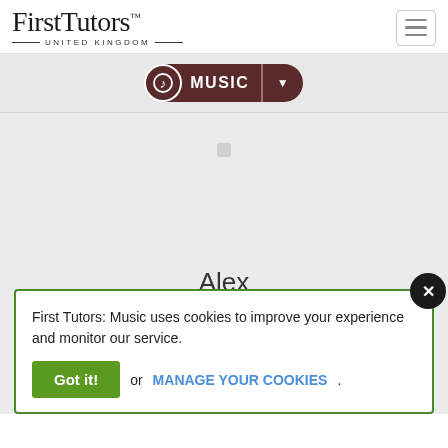[Figure (logo): First Tutors United Kingdom logo with serif wordmark]
[Figure (screenshot): Music category navigation pill with music note icon and dropdown arrow]
[Figure (photo): Profile image placeholder area (light grey) with name 'Alex' below]
First Tutors: Music uses cookies to improve your experience and monitor our service.
Got it!  or  MANAGE YOUR COOKIES.